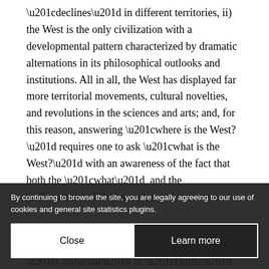“declines” in different territories, ii) the West is the only civilization with a developmental pattern characterized by dramatic alternations in its philosophical outlooks and institutions. All in all, the West has displayed far more territorial movements, cultural novelties, and revolutions in the sciences and arts; and, for this reason, answering “where is the West?” requires one to ask “what is the West?” with an awareness of the fact that both the “what”  and the “where” have changed over time.
This civilization, for example, is not simply “Christian” in the way others are “Confucian” or “Hindu” in a more stable, less varying way. Its Christian character alone has been infused with a theological and institutional dynamic (flowing from its synthesis with classical reason and Indo-European aristocratic expansionism) stimulating a multiplicity of monastic movements, Cluniacs and Cistercians, Franciscans and Dominicans, heterodox movements (Pe… …ensians, Cathars), not to mention Crusa… …rous Protest… denominations lacking elsewhere. The Wes…
By continuing to browse the site, you are legally agreeing to our use of cookies and general site statistics plugins.